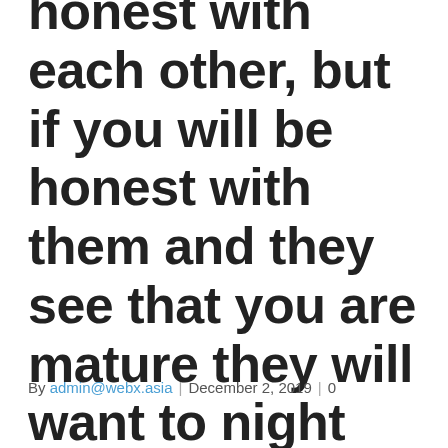honest with each other, but if you will be honest with them and they see that you are mature they will want to night out you.
By admin@webx.asia | December 2, 2019 | 0